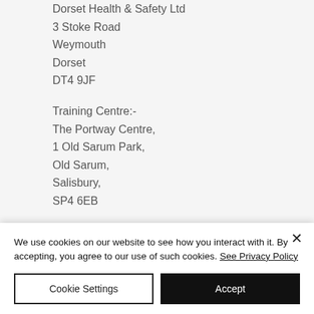Dorset Health & Safety Ltd
3 Stoke Road
Weymouth
Dorset
DT4 9JF
Training Centre:-
The Portway Centre,
1 Old Sarum Park,
Old Sarum,
Salisbury,
SP4 6EB
Our scheduled courses in Salisbury are easily accessible from:
We use cookies on our website to see how you interact with it. By accepting, you agree to our use of such cookies. See Privacy Policy